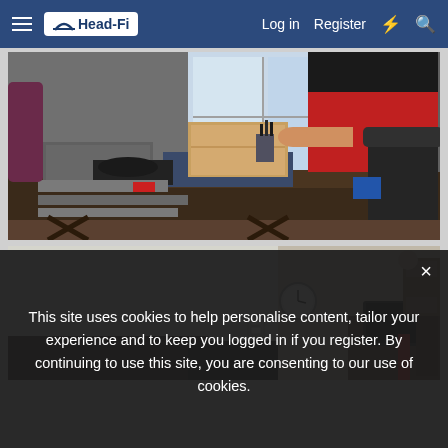Head-Fi | Log in | Register
[Figure (photo): Person in red shirt working at a cluttered desk with audio equipment, cables, boxes, and chairs in a room]
[Figure (photo): Room interior with wall, clock, and desk with laptop visible]
This site uses cookies to help personalise content, tailor your experience and to keep you logged in if you register. By continuing to use this site, you are consenting to our use of cookies.